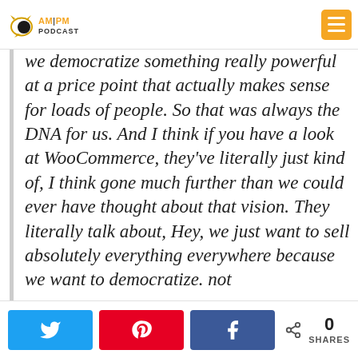AM|PM PODCAST
we democratize something really powerful at a price point that actually makes sense for loads of people. So that was always the DNA for us. And I think if you have a look at WooCommerce, they've literally just kind of, I think gone much further than we could ever have thought about that vision. They literally talk about, Hey, we just want to sell absolutely everything everywhere because we want to democratize. not
0 SHARES